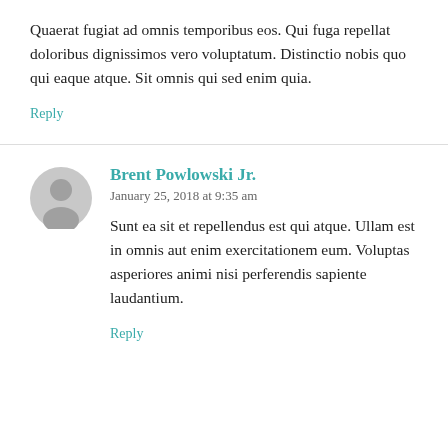Quaerat fugiat ad omnis temporibus eos. Qui fuga repellat doloribus dignissimos vero voluptatum. Distinctio nobis quo qui eaque atque. Sit omnis qui sed enim quia.
Reply
Brent Powlowski Jr.
January 25, 2018 at 9:35 am
Sunt ea sit et repellendus est qui atque. Ullam est in omnis aut enim exercitationem eum. Voluptas asperiores animi nisi perferendis sapiente laudantium.
Reply